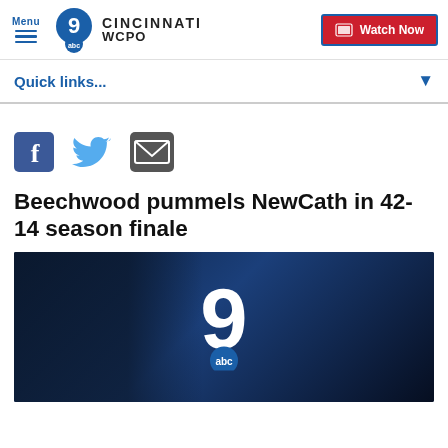Menu | WCPO 9 ABC CINCINNATI | Watch Now
Quick links...
[Figure (other): Social media share icons: Facebook, Twitter, Email]
Beechwood pummels NewCath in 42-14 season finale
[Figure (screenshot): WCPO 9 ABC Cincinnati station logo on dark blue background]